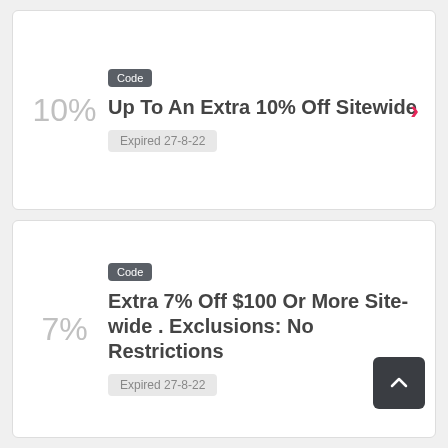Code
Up To An Extra 10% Off Sitewide
Expired 27-8-22
Code
Extra 7% Off $100 Or More Site-wide . Exclusions: No Restrictions
Expired 27-8-22